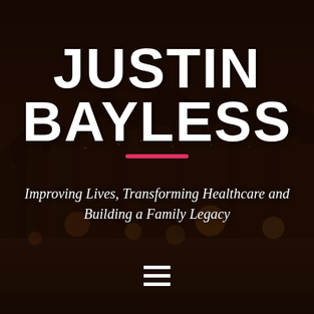[Figure (photo): Dark night cityscape of a city (likely Phoenix, AZ) with mountains in the background, city lights visible, overlaid with a dark brownish-red semi-transparent overlay]
JUSTIN BAYLESS
Improving Lives, Transforming Healthcare and Building a Family Legacy
[Figure (other): Three horizontal white lines forming a hamburger/menu icon]